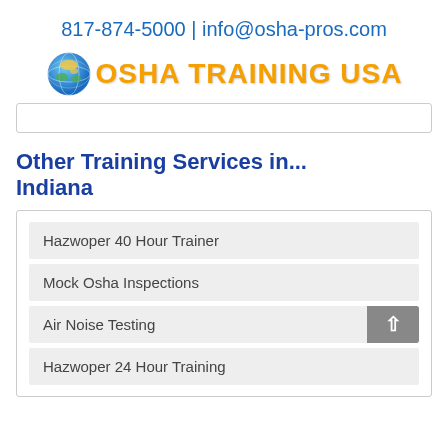817-874-5000 | info@osha-pros.com
[Figure (logo): OSHA Training USA logo with globe icon]
Other Training Services in... Indiana
Hazwoper 40 Hour Trainer
Mock Osha Inspections
Air Noise Testing
Hazwoper 24 Hour Training